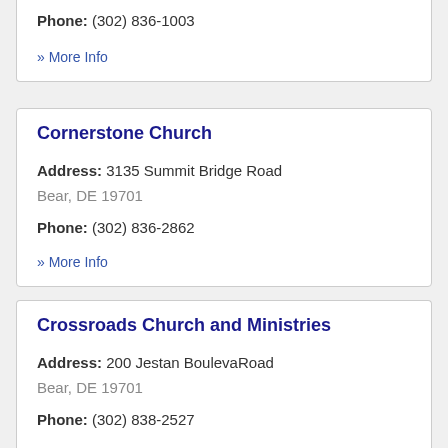Phone: (302) 836-1003
» More Info
Cornerstone Church
Address: 3135 Summit Bridge Road
Bear, DE 19701
Phone: (302) 836-2862
» More Info
Crossroads Church and Ministries
Address: 200 Jestan BoulevaRoad
Bear, DE 19701
Phone: (302) 838-2527
» More Info